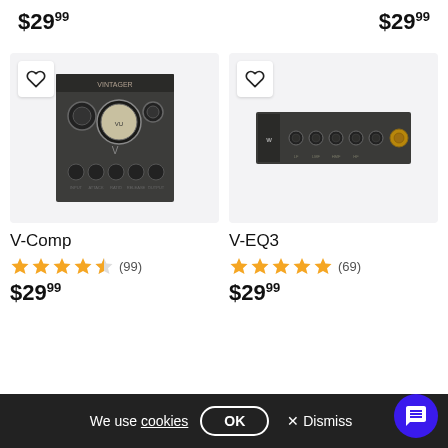$29.99
$29.99
[Figure (photo): V-Comp plugin UI - dark hardware compressor device with knobs and VU meter]
[Figure (photo): V-EQ3 plugin UI - dark horizontal equalizer strip with knobs]
V-Comp
V-EQ3
4.5 stars (99)
5 stars (69)
$29.99
$29.99
We use cookies OK Dismiss